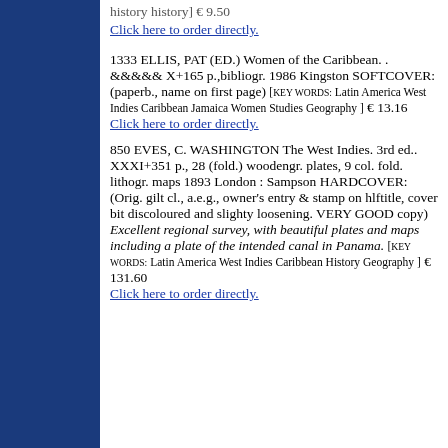history history] € 9.50
Click here to order directly.
1333 ELLIS, PAT (ED.) Women of the Caribbean. . &&&&& X+165 p.,bibliogr. 1986 Kingston SOFTCOVER: (paperb., name on first page) [KEY WORDS: Latin America West Indies Caribbean Jamaica Women Studies Geography ] € 13.16
Click here to order directly.
850 EVES, C. WASHINGTON The West Indies. 3rd ed.. XXXI+351 p., 28 (fold.) woodengr. plates, 9 col. fold. lithogr. maps 1893 London : Sampson HARDCOVER: (Orig. gilt cl., a.e.g., owner's entry & stamp on hlftitle, cover bit discoloured and slighty loosening. VERY GOOD copy) Excellent regional survey, with beautiful plates and maps including a plate of the intended canal in Panama. [KEY WORDS: Latin America West Indies Caribbean History Geography ] € 131.60
Click here to order directly.